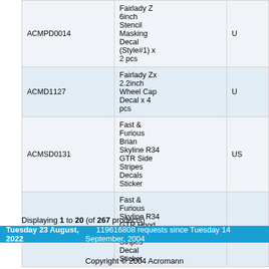| SKU | Product Name |  |
| --- | --- | --- |
| ACMPD0014 | Fairlady Z 6inch Stencil Masking Decal (Style#1) x 2 pcs | U |
| ACMD1127 | Fairlady Zx 2.2inch Wheel Cap Decal x 4 pcs | U |
| ACMSD0131 | Fast & Furious Brian Skyline R34 GTR Side Stripes Decals Sticker | US |
| ACMBD0077 | Fast & Furious Skyline R34 GTR Hood Racing Stripes Decal Sticker | U |
Displaying 1 to 20 (of 267 products)
Tuesday 23 August, 2022    119616808 requests since Tuesday 14 September, 2004
Copyright © 2004 Acromann